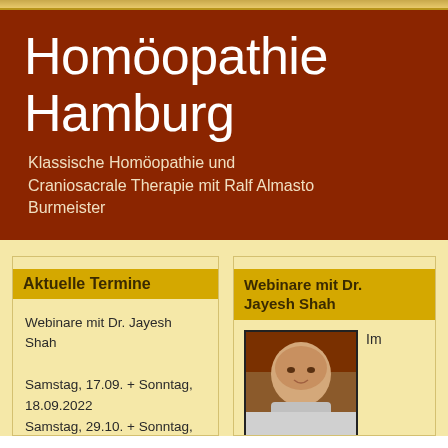Homöopathie Hamburg
Klassische Homöopathie und Craniosacrale Therapie mit Ralf Almasto Burmeister
Aktuelle Termine
Webinare mit Dr. Jayesh Shah

Samstag, 17.09. + Sonntag, 18.09.2022
Samstag, 29.10. + Sonntag, 30.10.2022
Zeiten: 10:00 bis 13:15 Uhr
Webinare mit Dr. Jayesh Shah
[Figure (photo): Portrait photo of Dr. Jayesh Shah, an elderly man]
Im